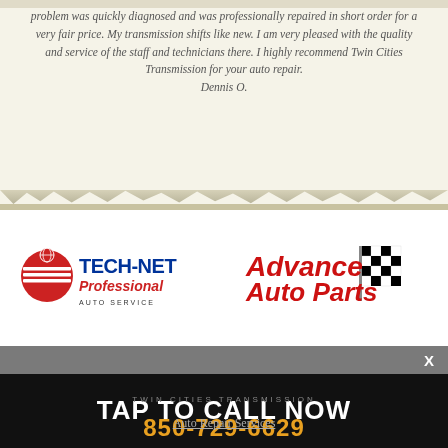problem was quickly diagnosed and was professionally repaired in short order for a very fair price. My transmission shifts like new. I am very pleased with the quality and service of the staff and technicians there. I highly recommend Twin Cities Transmission for your auto repair.
Dennis O.
[Figure (logo): Tech-Net Professional Auto Service logo - red circle with horizontal lines and blue/red text]
[Figure (logo): Advance Auto Parts logo - red text with checkered flag graphic]
X
TAP TO CALL NOW
TWIN CITIES TRANSMISSION
850-729-6629
Auto Repair Services